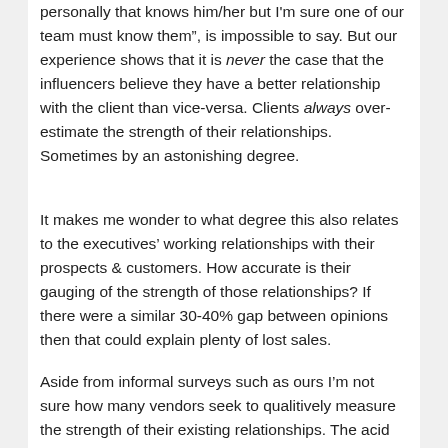personally that knows him/her but I'm sure one of our team must know them", is impossible to say. But our experience shows that it is never the case that the influencers believe they have a better relationship with the client than vice-versa. Clients always over-estimate the strength of their relationships. Sometimes by an astonishing degree.
It makes me wonder to what degree this also relates to the executives' working relationships with their prospects & customers. How accurate is their gauging of the strength of those relationships? If there were a similar 30-40% gap between opinions then that could explain plenty of lost sales.
Aside from informal surveys such as ours I'm not sure how many vendors seek to qualitively measure the strength of their existing relationships. The acid test most used – "did you win the sale?" – is a winner-takes-all moment in time, with no opportunity for a second attempt. So the homework needs to be done in advance. Starting